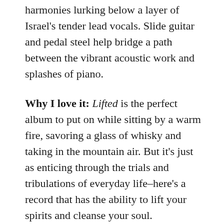harmonies lurking below a layer of Israel's tender lead vocals. Slide guitar and pedal steel help bridge a path between the vibrant acoustic work and splashes of piano.
Why I love it: Lifted is the perfect album to put on while sitting by a warm fire, savoring a glass of whisky and taking in the mountain air. But it's just as enticing through the trials and tribulations of everyday life–here's a record that has the ability to lift your spirits and cleanse your soul.
4) Leon Bridges – Good Thing